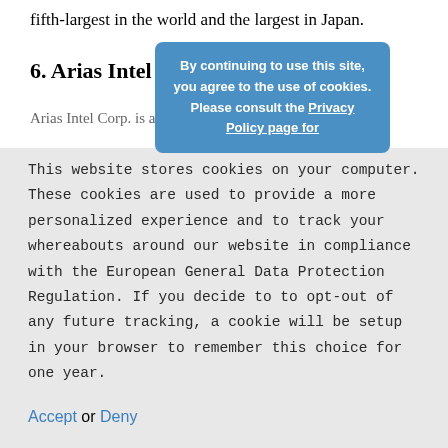fifth-largest in the world and the largest in Japan.
6. Arias Intel Corp.
Arias Intel Corp. is a company with interests in
[Figure (other): Blue cookie consent popup overlay with text: 'By continuing to use this site, you agree to the use of cookies. Please consult the Privacy Policy page for']
This website stores cookies on your computer. These cookies are used to provide a more personalized experience and to track your whereabouts around our website in compliance with the European General Data Protection Regulation. If you decide to to opt-out of any future tracking, a cookie will be setup in your browser to remember this choice for one year.
Accept or Deny